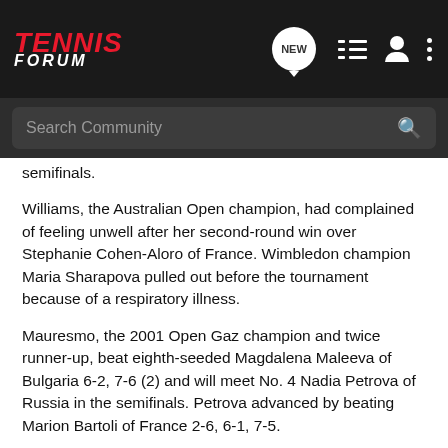TENNIS FORUM
semifinals.
Williams, the Australian Open champion, had complained of feeling unwell after her second-round win over Stephanie Cohen-Aloro of France. Wimbledon champion Maria Sharapova pulled out before the tournament because of a respiratory illness.
Mauresmo, the 2001 Open Gaz champion and twice runner-up, beat eighth-seeded Magdalena Maleeva of Bulgaria 6-2, 7-6 (2) and will meet No. 4 Nadia Petrova of Russia in the semifinals. Petrova advanced by beating Marion Bartoli of France 2-6, 6-1, 7-5.
Dinara Safina of Russia made her second straight Open Gaz quarterfinals...